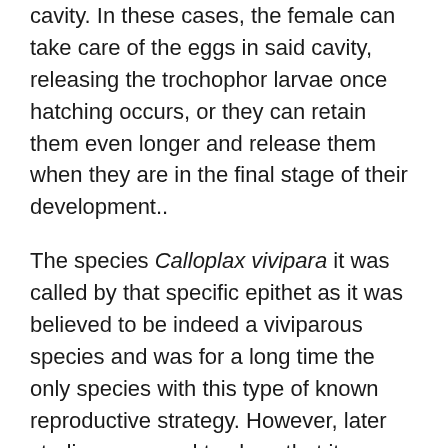cavity. In these cases, the female can take care of the eggs in said cavity, releasing the trochophor larvae once hatching occurs, or they can retain them even longer and release them when they are in the final stage of their development..
The species Calloplax vivipara it was called by that specific epithet as it was believed to be indeed a viviparous species and was for a long time the only species with this type of known reproductive strategy. However, later studies managed to show that it was another species that conserved the young in the paleal cavity..
The eggs of sea cockroaches have a typical spiral cleavage that leads to the trochophore larva, which hatches and continues its development outside the egg, but without acquiring any exogenous food, but instead feeds on the accumulated yolk, that is, they are lecithotrophic species.